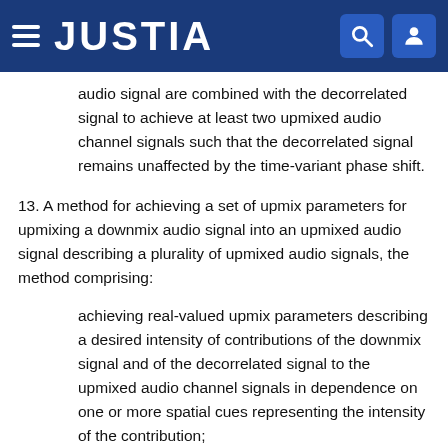JUSTIA
audio signal are combined with the decorrelated signal to achieve at least two upmixed audio channel signals such that the decorrelated signal remains unaffected by the time-variant phase shift.
13. A method for achieving a set of upmix parameters for upmixing a downmix audio signal into an upmixed audio signal describing a plurality of upmixed audio signals, the method comprising:
achieving real-valued upmix parameters describing a desired intensity of contributions of the downmix signal and of the decorrelated signal to the upmixed audio channel signals in dependence on one or more spatial cues representing the intensity of the contribution;
achieving phase-shift-angle values describing a